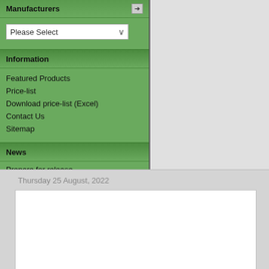Manufacturers
Please Select
Information
Featured Products
Price-list
Download price-list (Excel)
Contact Us
Sitemap
News
Prepare for release
Thursday 25 August, 2022